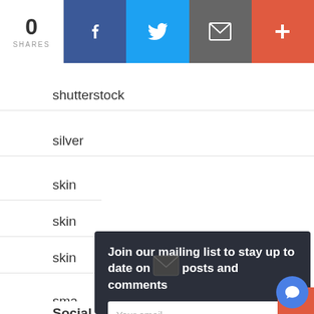[Figure (screenshot): Social share bar with share count (0 SHARES), Facebook, Twitter, email, and plus buttons]
shutterstock
silver
skin (partially visible)
skin (partially visible)
skin (partially visible)
skin (partially visible)
sma (partially visible)
Social Media
Join our mailing list to stay up to date on blog posts and comments
Your email
Subscribe